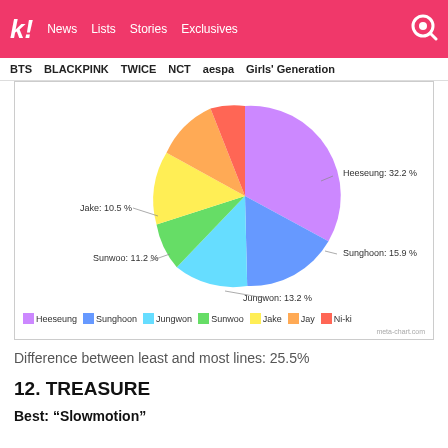Koreaboo — News | Lists | Stories | Exclusives
BTS  BLACKPINK  TWICE  NCT  aespa  Girls' Generation
[Figure (pie-chart): Enhypen line distribution]
Difference between least and most lines: 25.5%
12. TREASURE
Best: “Slowmotion”